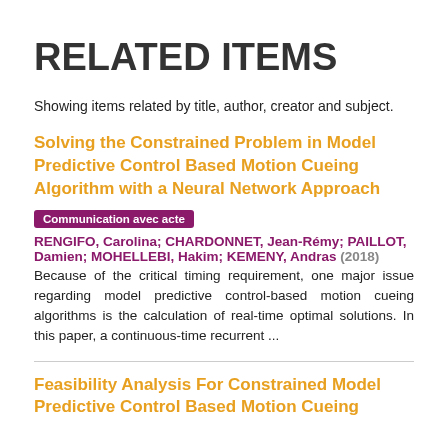RELATED ITEMS
Showing items related by title, author, creator and subject.
Solving the Constrained Problem in Model Predictive Control Based Motion Cueing Algorithm with a Neural Network Approach
Communication avec acte
RENGIFO, Carolina; CHARDONNET, Jean-Rémy; PAILLOT, Damien; MOHELLEBI, Hakim; KEMENY, Andras (2018)
Because of the critical timing requirement, one major issue regarding model predictive control-based motion cueing algorithms is the calculation of real-time optimal solutions. In this paper, a continuous-time recurrent ...
Feasibility Analysis For Constrained Model Predictive Control Based Motion Cueing